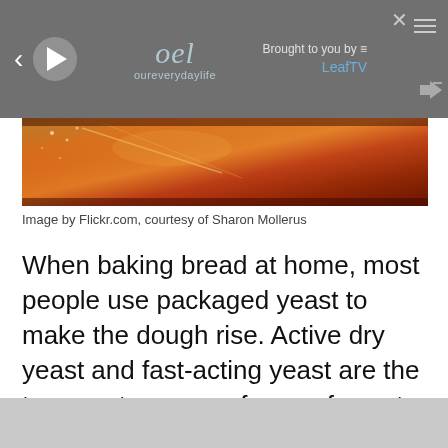[Figure (screenshot): Video player overlay bar with back arrow, play button, OurEverydayLife logo, 'Brought to you by LeafTV' text, hamburger menu, close button, and volume icon]
[Figure (photo): Close-up photo of baked bread with golden-brown crust, warm tones of orange and red]
Image by Flickr.com, courtesy of Sharon Mollerus
When baking bread at home, most people use packaged yeast to make the dough rise. Active dry yeast and fast-acting yeast are the two most common forms of yeast for home use. Either can be used in a bread recipe if a few modifications are made.